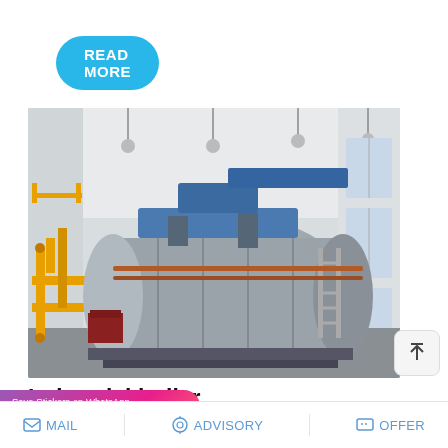READ MORE
[Figure (photo): Industrial boiler installation inside a large factory building. A large cylindrical grey boiler vessel sits on a metal frame. Yellow gas pipes run along the left wall. Blue overhead ducting connects at the top. A ladder leans against the boiler on the right side. High windows and white ceiling with pendant lights visible.]
Industrial boiler supplier Industrial - FangKuai
[Figure (screenshot): WhatsApp sticker save overlay with purple-to-pink gradient background. Text: 'Save Stickers on WhatsApp'. Two circular icons below: green WhatsApp phone icon and pink emoji/sticker icon.]
MAIL   ADVISORY   OFFER